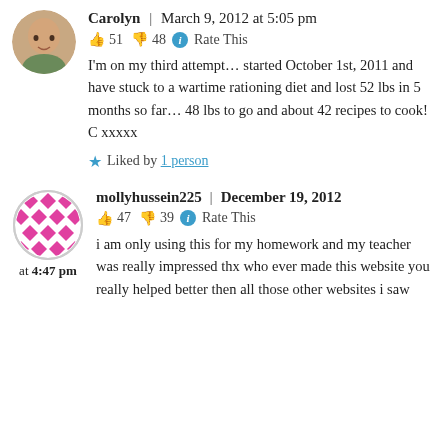[Figure (photo): Circular avatar photo of Carolyn, a woman]
Carolyn | March 9, 2012 at 5:05 pm
👍 51 👎 48 ℹ Rate This
I'm on my third attempt… started October 1st, 2011 and have stuck to a wartime rationing diet and lost 52 lbs in 5 months so far… 48 lbs to go and about 42 recipes to cook! C xxxxx
★ Liked by 1 person
[Figure (illustration): Circular avatar with pink diamond/checker pattern for mollyhussein225]
mollyhussein225 | December 19, 2012 at 4:47 pm
👍 47 👎 39 ℹ Rate This
i am only using this for my homework and my teacher was really impressed thx who ever made this website you really helped better then all those other websites i saw